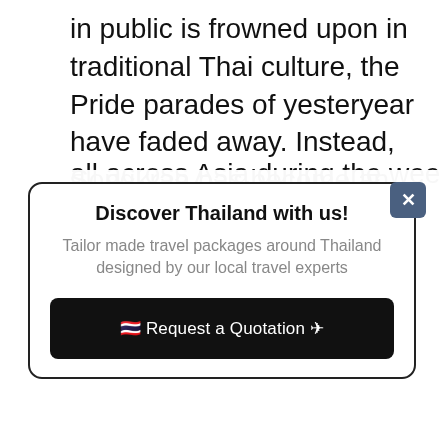in public is frowned upon in traditional Thai culture, the Pride parades of yesteryear have faded away. Instead, Songkran has become an unofficial Pride, drawing thousands of gays from all across Asia during the week of
[Figure (other): Modal popup with title 'Discover Thailand with us!', subtitle 'Tailor made travel packages around Thailand designed by our local travel experts', and a black button '🇹🇭 Request a Quotation ✈' with a close (X) button in the top-right corner.]